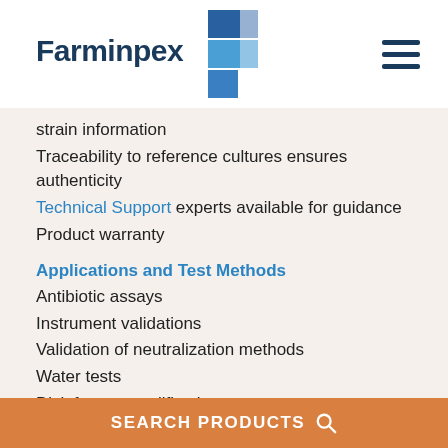[Figure (logo): Farminpex logo with blue geometric F-shaped icon and company name]
strain information
Traceability to reference cultures ensures authenticity
Technical Support experts available for guidance
Product warranty
Applications and Test Methods
Antibiotic assays
Instrument validations
Validation of neutralization methods
Water tests
Disinfectant qualification
Package Details
SEARCH PRODUCTS